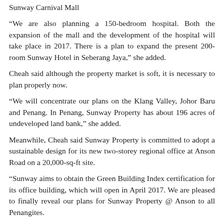Sunway Carnival Mall
“We are also planning a 150-bedroom hospital. Both the expansion of the mall and the development of the hospital will take place in 2017. There is a plan to expand the present 200-room Sunway Hotel in Seberang Jaya,” she added.
Cheah said although the property market is soft, it is necessary to plan properly now.
“We will concentrate our plans on the Klang Valley, Johor Baru and Penang. In Penang, Sunway Property has about 196 acres of undeveloped land bank,” she added.
Meanwhile, Cheah said Sunway Property is committed to adopt a sustainable design for its new two-storey regional office at Anson Road on a 20,000-sq-ft site.
“Sunway aims to obtain the Green Building Index certification for its office building, which will open in April 2017. We are pleased to finally reveal our plans for Sunway Property @ Anson to all Penangites.